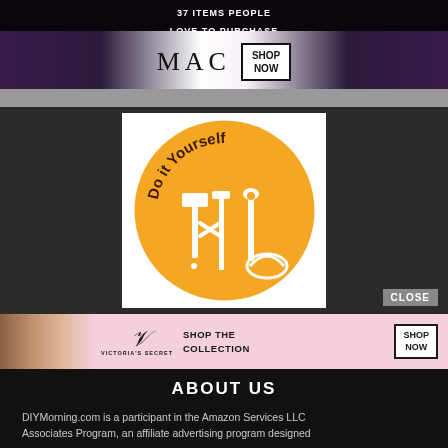[Figure (screenshot): MAC Cosmetics advertisement banner showing lipsticks with 'SHOP NOW' button]
[Figure (logo): Do it Yourself circular logo with tools (hammer, paint roller, scissors, wrench, brush, hard hat) on orange background]
[Figure (screenshot): Victoria's Secret advertisement banner with model, logo, 'SHOP THE COLLECTION' text and 'SHOP NOW' button]
ABOUT US
DIYMorning.com is a participant in the Amazon Services LLC Associates Program, an affiliate advertising program designed